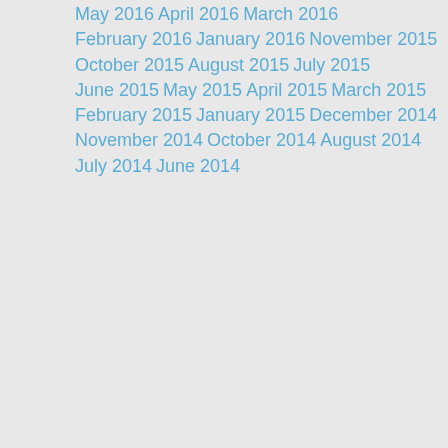May 2016
April 2016
March 2016
February 2016
January 2016
November 2015
October 2015
August 2015
July 2015
June 2015
May 2015
April 2015
March 2015
February 2015
January 2015
December 2014
November 2014
October 2014
August 2014
July 2014
June 2014